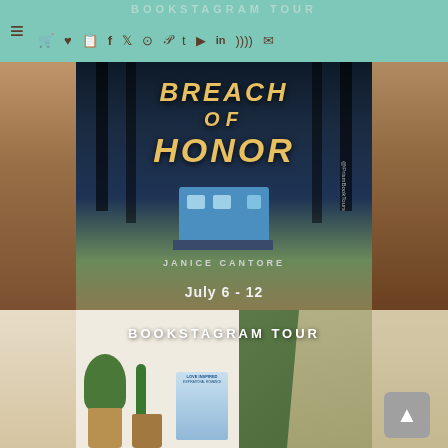BOOKSTAGRAM TOUR
[Figure (photo): Book cover promotional banner for 'Breach of Honor' by Janice Cantore, showing a blue camper in a dark forest, with the text 'July 6 - 12' and '@PrismBookTours' watermark, set against a rocky desert background.]
[Figure (photo): Bookstagram Tour promotional image with cactus and succulent plants on a woven mat background with green pillows and a beige knitted throw, featuring a 'Love Inspired Inspirational Romance' book cover showing a woman in a hat in a field.]
BOOKSTAGRAM TOUR